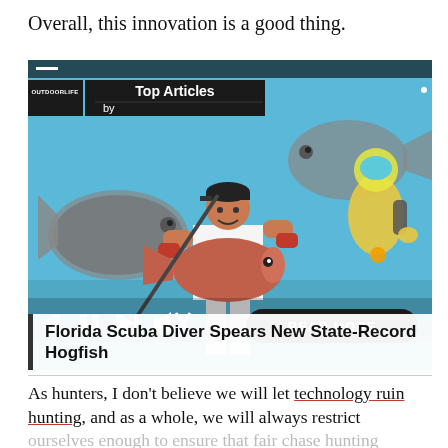Overall, this innovation is a good thing.
[Figure (screenshot): A screenshot of an OutdoorLife 'Top Articles' media player card showing a man holding a large hogfish in front of a painted mural of fish and a scuba diver. The card has media controls (skip back, pause, skip forward, mute) and a 'READ MORE' button. Below the image is the article title 'Florida Scuba Diver Spears New State-Record Hogfish'.]
As hunters, I don't believe we will let technology ruin hunting, and as a whole, we will always restrict ourselves enough to ensure that fair chase hunting has a bright future. With that said, the conversation